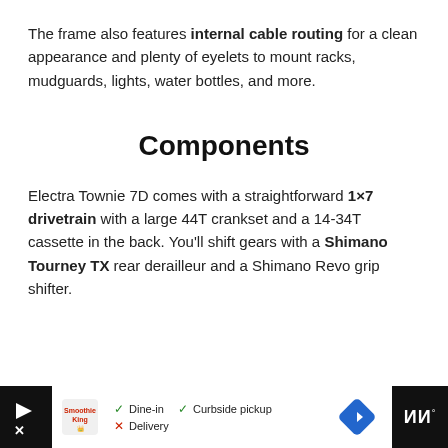The frame also features internal cable routing for a clean appearance and plenty of eyelets to mount racks, mudguards, lights, water bottles, and more.
Components
Electra Townie 7D comes with a straightforward 1×7 drivetrain with a large 44T crankset and a 14-34T cassette in the back. You'll shift gears with a Shimano Tourney TX rear derailleur and a Shimano Revo grip shifter.
[Figure (screenshot): Advertisement bar at bottom of page showing a restaurant listing with Dine-in, Curbside pickup options and Delivery crossed out]